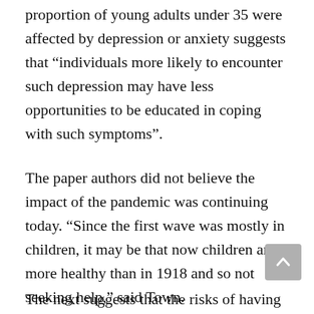proportion of young adults under 35 were affected by depression or anxiety suggests that “individuals more likely to encounter such depression may have less opportunities to be educated in coping with such symptoms”.
The paper authors did not believe the impact of the pandemic was continuing today. “Since the first wave was mostly in children, it may be that now children are more healthy than in 1918 and so not seeking help,” said Town.
The next suggests that the risks of having...